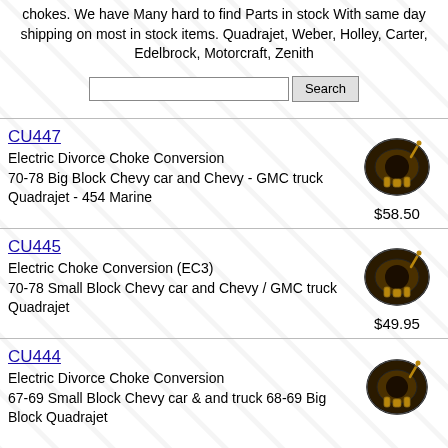chokes. We have Many hard to find Parts in stock With same day shipping on most in stock items. Quadrajet, Weber, Holley, Carter, Edelbrock, Motorcraft, Zenith
CU447 - Electric Divorce Choke Conversion - 70-78 Big Block Chevy car and Chevy - GMC truck Quadrajet - 454 Marine - $58.50
CU445 - Electric Choke Conversion (EC3) - 70-78 Small Block Chevy car and Chevy / GMC truck Quadrajet - $49.95
CU444 - Electric Divorce Choke Conversion - 67-69 Small Block Chevy car & and truck 68-69 Big Block Quadrajet